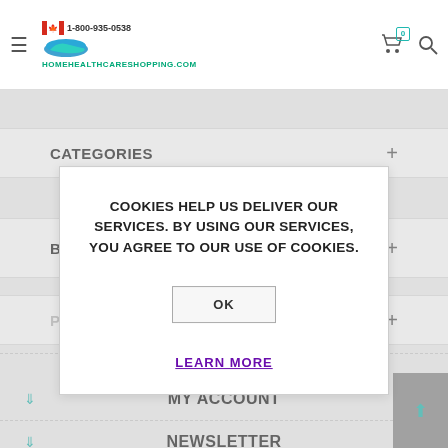Home Health Care Shopping - HOMEHEALTHCARESHOPPING.COM | 1-800-935-0538
CATEGORIES
BRAND
COOKIES HELP US DELIVER OUR SERVICES. BY USING OUR SERVICES, YOU AGREE TO OUR USE OF COOKIES.
OK
LEARN MORE
INFORMATION
MY ACCOUNT
NEWSLETTER